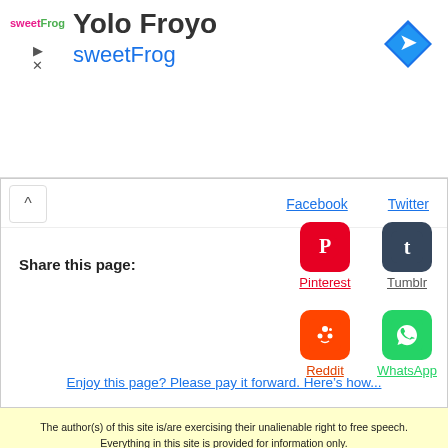[Figure (infographic): sweetFrog ad banner with logo, play/close icons, title 'Yolo Froyo', subtitle 'sweetFrog', and blue diamond navigation arrow icon in top right]
Share this page:
Facebook
Twitter
[Figure (logo): Pinterest red rounded square icon with white P]
Pinterest
[Figure (logo): Tumblr dark navy rounded square icon with white t]
Tumblr
[Figure (logo): Reddit orange rounded square icon with white alien mascot]
Reddit
[Figure (logo): WhatsApp green rounded square icon with white phone handset]
WhatsApp
Enjoy this page? Please pay it forward. Here’s how...
The author(s) of this site is/are exercising their unalienable right to free speech. Everything in this site is provided for information only. Any medical decisions should be made with the assistance of a medical professional. Common Law Copyright and Trademark 2008 to 2018 by Kerri Knox and Easy Immune Health All Rights Reserved. Without Recourse.